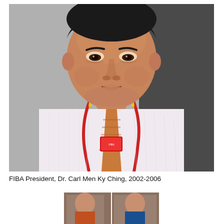[Figure (photo): Close-up photo of an older Asian man wearing a white pinstripe dress shirt and an orange/tan patterned tie. He has a red and yellow lanyard/credentials badge around his neck. His hair is dark and slicked back. He appears to be at a public event. The background is blurred.]
FIBA President, Dr. Carl Men Ky Ching, 2002-2006
[Figure (photo): Partial view of a second photograph showing two or more people, cropped at the bottom of the page.]